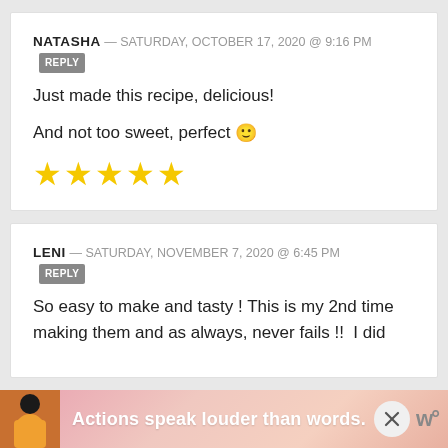NATASHA — SATURDAY, OCTOBER 17, 2020 @ 9:16 PM  [REPLY]
Just made this recipe, delicious!

And not too sweet, perfect 🙂

★★★★★
LENI — SATURDAY, NOVEMBER 7, 2020 @ 6:45 PM  [REPLY]
So easy to make and tasty ! This is my 2nd time making them and as always, never fails !!  I did
[Figure (illustration): Advertisement banner: 'Actions speak louder than words.' with a figure illustration and close buttons]